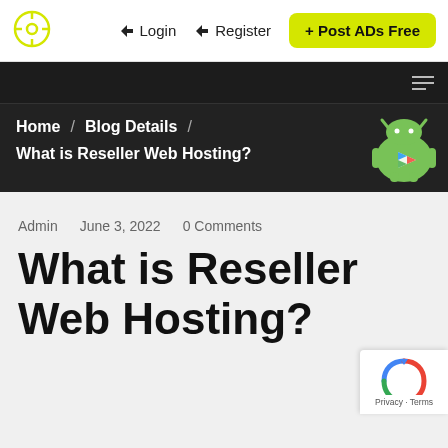[Figure (logo): Circular crosshair/target logo icon in yellow outline on white background]
→ Login   →  Register   + Post ADs Free
Home / Blog Details / What is Reseller Web Hosting?
Admin   June 3, 2022   0 Comments
What is Reseller Web Hosting?